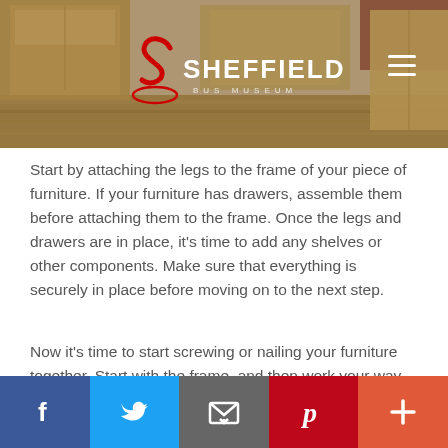[Figure (photo): Header banner image showing cardboard moving boxes in a room with wooden floor, overlaid with Sheffield Bus Museum logo (red stylized S with SHEFFIELD text in white and BUS MUSEUM in smaller letters) and a hamburger menu icon in the top right.]
Start by attaching the legs to the frame of your piece of furniture. If your furniture has drawers, assemble them before attaching them to the frame. Once the legs and drawers are in place, it’s time to add any shelves or other components. Make sure that everything is securely in place before moving on to the next step.
Now it’s time to start screwing or nailing your furniture together. Start with the frame, and then work your way out from there. If you’re using screws, make sure that they’re screwed in tightly so that your furniture doesn’t fall apart later. S...
[Figure (infographic): Social sharing bar at the bottom with five buttons: Facebook (dark blue, f icon), Twitter (light blue, bird icon), Email (grey, envelope icon), Pinterest (red, P icon), and a plus/more button (orange-red, + icon).]